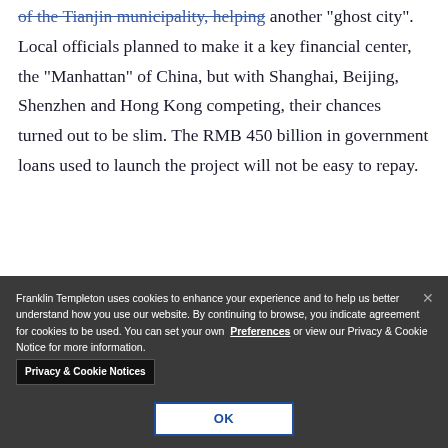...of the Tianjin municipality, helping avoid another 'ghost city'. Local officials planned to make it a key financial center, the "Manhattan" of China, but with Shanghai, Beijing, Shenzhen and Hong Kong competing, their chances turned out to be slim. The RMB 450 billion in government loans used to launch the project will not be easy to repay.
Those places are the...
[Figure (photo): Construction cranes against a pale grey sky, suggesting an ongoing large-scale building project.]
Franklin Templeton uses cookies to enhance your experience and to help us better understand how you use our website. By continuing to browse, you indicate agreement for cookies to be used. You can set your own Preferences or view our Privacy & Cookie Notice for more information. Privacy & Cookie Notices
OK